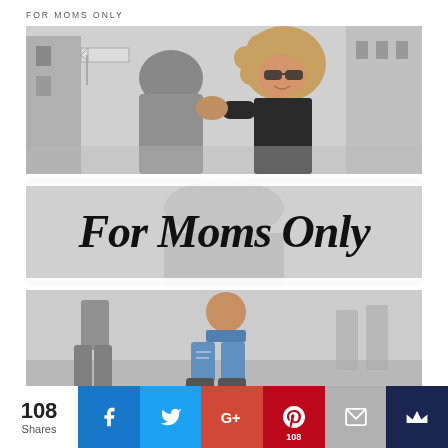FOR MOMS ONLY
[Figure (photo): A woman with curly hair and sunglasses facing a person in a hoodie on a city street]
[Figure (illustration): Script text overlay reading 'For Moms Only' on a faded background photo]
[Figure (photo): A person crouching on a street, wearing ripped jeans, with another person standing nearby]
[Figure (infographic): Social sharing bar with 108 Shares, Facebook, Twitter, Google+, Pinterest (108), Email, and Crown icon buttons]